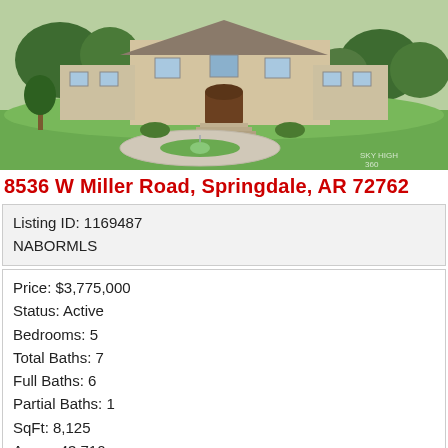[Figure (photo): Aerial/elevated exterior photo of a large stone luxury home with circular driveway featuring a fountain, manicured landscaping, and surrounding trees]
8536 W Miller Road, Springdale, AR 72762
Listing ID: 1169487
NABORMLS
Price: $3,775,000
Status: Active
Bedrooms: 5
Total Baths: 7
Full Baths: 6
Partial Baths: 1
SqFt: 8,125
Acres: 43.710
This property will take your breath away! Behind the iron gates,